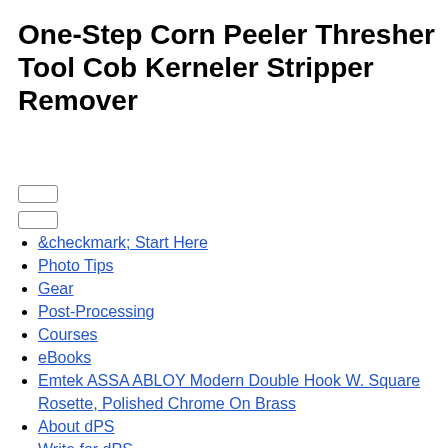One-Step Corn Peeler Thresher Tool Cob Kerneler Stripper Remover
&checkmark; Start Here
Photo Tips
Gear
Post-Processing
Courses
eBooks
Emtek ASSA ABLOY Modern Double Hook W. Square Rosette, Polished Chrome On Brass
About dPS
Write for dPS
Advertise on dPS
Affiliate Program
&checkmark; Start Here
Photo Tips
328pcs Set Polyolefin Shrinking Assorted Heat Shrink Tube Wire Cable Insulated